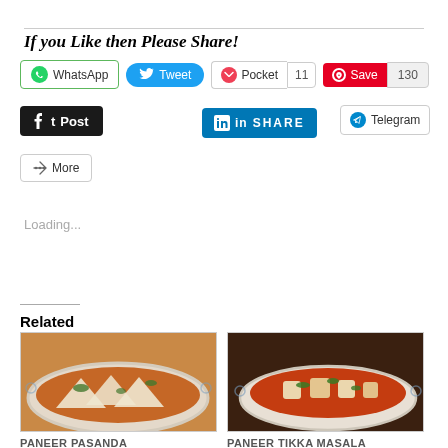If you Like then Please Share!
[Figure (screenshot): Social sharing buttons: WhatsApp, Tweet, Pocket (11), Save (130), Post (Tumblr), LinkedIn SHARE, Telegram, More]
Loading...
Related
[Figure (photo): Photo of Paneer Pasanda dish in a bowl]
PANEER PASANDA
[Figure (photo): Photo of Paneer Tikka Masala dish in a bowl]
PANEER TIKKA MASALA